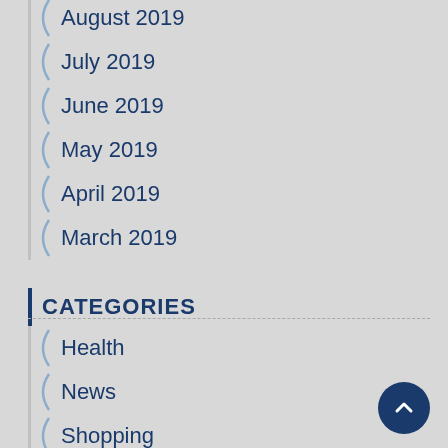August 2019
July 2019
June 2019
May 2019
April 2019
March 2019
CATEGORIES
Health
News
Shopping